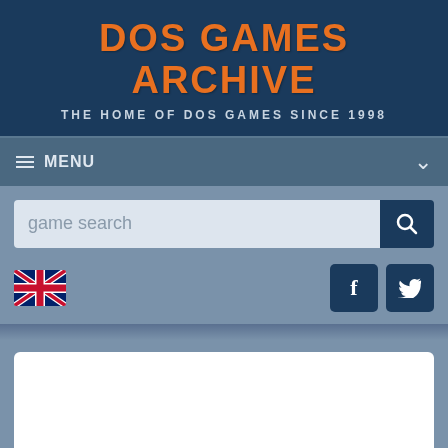DOS GAMES ARCHIVE
THE HOME OF DOS GAMES SINCE 1998
MENU
[Figure (screenshot): Search bar with 'game search' placeholder text and search button]
[Figure (illustration): UK flag icon and social media buttons for Facebook and Twitter]
[Figure (other): White advertisement card placeholder]
In the Dead of Night